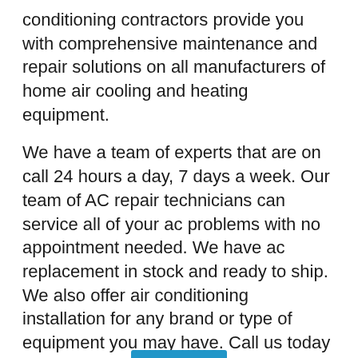conditioning contractors provide you with comprehensive maintenance and repair solutions on all manufacturers of home air cooling and heating equipment.
We have a team of experts that are on call 24 hours a day, 7 days a week. Our team of AC repair technicians can service all of your ac problems with no appointment needed. We have ac replacement in stock and ready to ship. We also offer air conditioning installation for any brand or type of equipment you may have. Call us today for more information about our ac repair and replacement services! We service the greater Washington Indiana area.